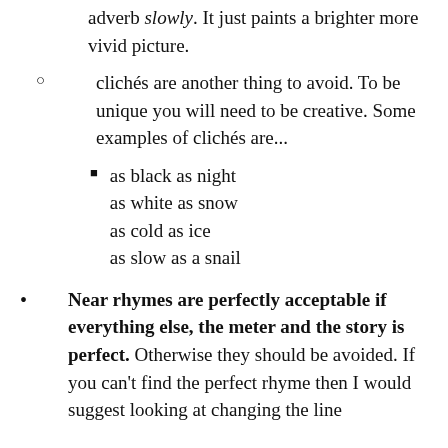adverb slowly. It just paints a brighter more vivid picture.
clichés are another thing to avoid. To be unique you will need to be creative. Some examples of clichés are...
as black as night
as white as snow
as cold as ice
as slow as a snail
Near rhymes are perfectly acceptable if everything else, the meter and the story is perfect. Otherwise they should be avoided. If you can't find the perfect rhyme then I would suggest looking at changing the line